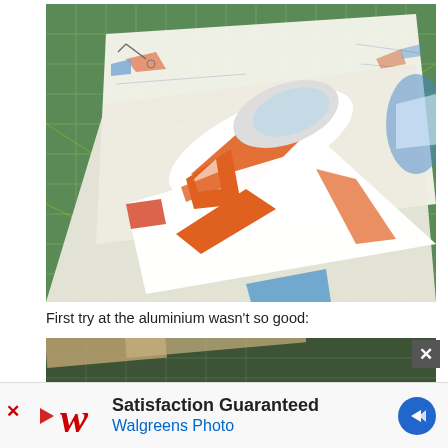[Figure (photo): A white and orange model airplane placed on top of printed paper plans, on a green cutting mat.]
First try at the aluminium wasn't so good:
[Figure (photo): Partially visible photo of model airplane aluminium work on a green cutting mat, cropped by advertisement overlay.]
[Figure (infographic): Advertisement banner: Walgreens Photo — Satisfaction Guaranteed, with Walgreens W logo and blue arrow icon. Red X close button at right.]